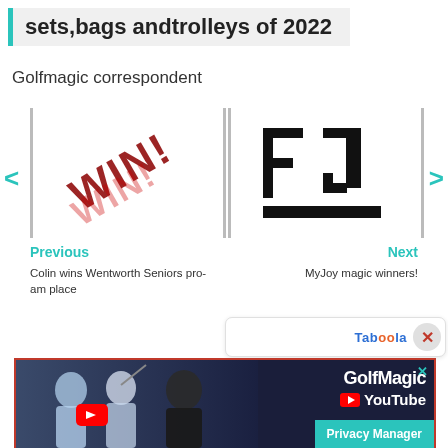sets,bags andtrolleys of 2022
Golfmagic correspondent
[Figure (illustration): Navigation carousel with two image thumbnails: left shows a 'WIN!' graphic with red diagonal text, right shows a FootJoy (FJ) logo in black and white. Left and right teal angle-bracket arrows flank the images.]
Previous
Colin wins Wentworth Seniors pro-am place
Next
MyJoy magic winners!
[Figure (screenshot): Taboola branding bar with close X button]
[Figure (photo): Ad banner showing three golfers (Jon Rahm, Dustin Johnson, Rory McIlroy) with GolfMagic YouTube branding, red play button, and a teal Privacy Manager button in the bottom right.]